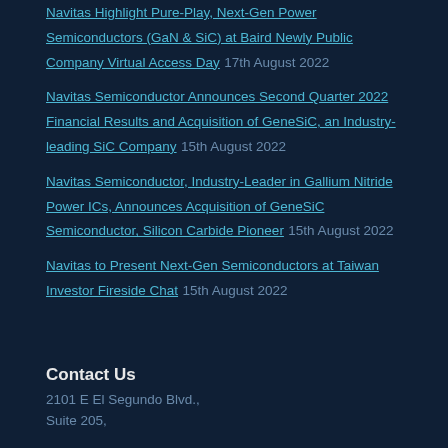Navitas Highlight Pure-Play, Next-Gen Power Semiconductors (GaN & SiC) at Baird Newly Public Company Virtual Access Day 17th August 2022
Navitas Semiconductor Announces Second Quarter 2022 Financial Results and Acquisition of GeneSiC, an Industry-leading SiC Company 15th August 2022
Navitas Semiconductor, Industry-Leader in Gallium Nitride Power ICs, Announces Acquisition of GeneSiC Semiconductor, Silicon Carbide Pioneer 15th August 2022
Navitas to Present Next-Gen Semiconductors at Taiwan Investor Fireside Chat 15th August 2022
Contact Us
2101 E El Segundo Blvd., Suite 205,